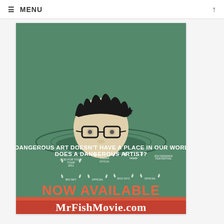≡ MENU
[Figure (illustration): Movie poster for MrFishMovie.com. Green-tinted illustration of a man with glasses submerged to the nose in water. Text reads: IF DANGEROUS ART DOESN'T HAVE A PLACE IN OUR WORLD, DOES A DANGEROUS ARTIST? Various film festival laurels shown. NOW AVAILABLE TO RENT OR BUY! MrFishMovie.com]
NOW AVAILABLE TO RENT OR BUY! MrFishMovie.com